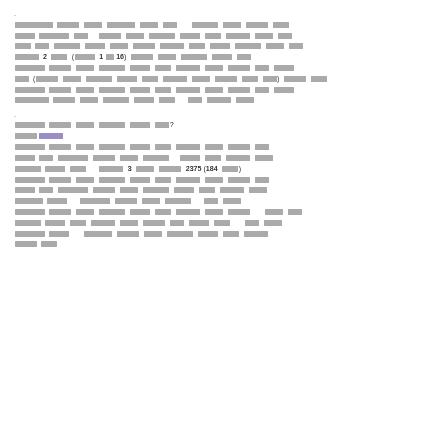. [redacted text paragraph with numbers 2, 1, 16]
. [redacted question and answer section with numbers 3, 2375, 184]